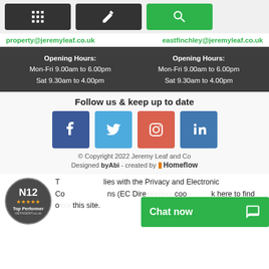[Figure (screenshot): Three icon buttons: calculator (dark), edit/pen (dark), search/magnifying glass (green)]
property@jeremyleaf.co.uk   eastfinchley@jeremyleaf.co.uk
Opening Hours: Mon-Fri 9.00am to 6.00pm Sat 9.30am to 4.00pm (repeated for two columns)
Follow us & keep up to date
[Figure (infographic): Social media icons: Facebook, Twitter, Instagram, LinkedIn]
© Copyright 2022 Jeremy Leaf and Co
Designed by byAbi - created by Homeflow
[Figure (other): N12 Top Performer badge circle from GetAgent.co.uk]
This site complies with the Privacy and Electronic Communications (EC Directive) Regulations. We use cookies. Click here to find out more and to opt out from this site.
Chat now